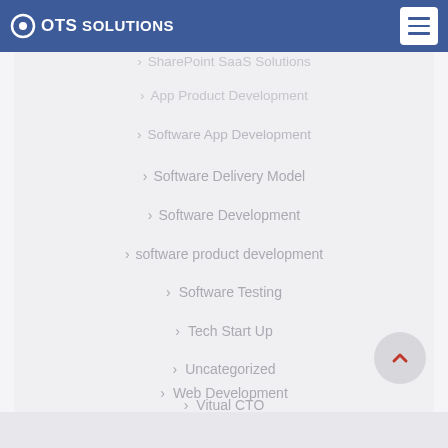OTS SOLUTIONS
SharePoint SaaS Solutions
App Product Development
Software App Development
Software Delivery Model
Software Development
software product development
Software Testing
Tech Start Up
Uncategorized
Vitual CTO
Web Development